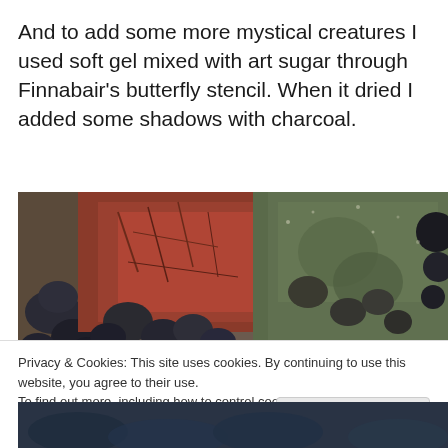And to add some more mystical creatures I used soft gel mixed with art sugar through Finnabair's butterfly stencil. When it dried I added some shadows with charcoal.
[Figure (photo): Close-up photo of mixed media art with textured surface showing peeling red/rust layers, dark rocky shapes, and greenish patina effects on a canvas or board.]
Privacy & Cookies: This site uses cookies. By continuing to use this website, you agree to their use.
To find out more, including how to control cookies, see here: Cookie Policy
[Figure (photo): Partial view of another mixed media artwork with dark blue and green tones.]